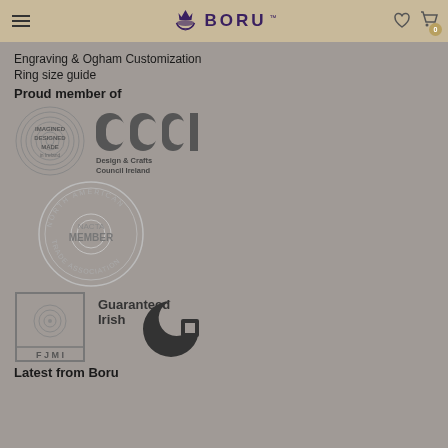BORU
Engraving & Ogham Customization
Ring size guide
Proud member of
[Figure (logo): Imagined Designed Made in Ireland fingerprint logo and Design & Crafts Council Ireland logo]
[Figure (logo): NACTA Member - North American Celtic Trade Association circular badge]
[Figure (logo): FJMI logo and Guaranteed Irish logo]
Latest from Boru